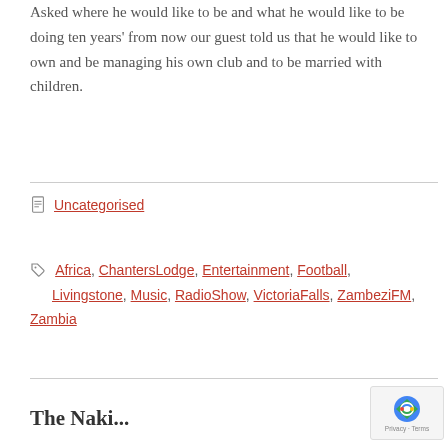Asked where he would like to be and what he would like to be doing ten years' from now our guest told us that he would like to own and be managing his own club and to be married with children.
Uncategorised
Africa, ChantersLodge, Entertainment, Football, Livingstone, Music, RadioShow, VictoriaFalls, ZambeziFM, Zambia
The Naki...